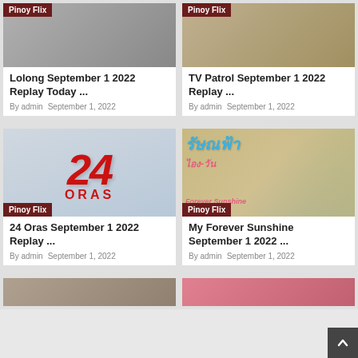[Figure (screenshot): Thumbnail image for Lolong September 1 2022 Replay with Pinoy Flix badge]
Lolong September 1 2022 Replay Today ...
By admin   September 1, 2022
[Figure (screenshot): Thumbnail image for TV Patrol September 1 2022 Replay with Pinoy Flix badge]
TV Patrol September 1 2022 Replay ...
By admin   September 1, 2022
[Figure (photo): 24 Oras logo with red numerals and ORAS text on grey background, Pinoy Flix badge]
24 Oras September 1 2022 Replay ...
By admin   September 1, 2022
[Figure (photo): My Forever Sunshine Thai drama promotional image with couple, Pinoy Flix badge]
My Forever Sunshine September 1 2022 ...
By admin   September 1, 2022
[Figure (photo): Partial thumbnail bottom left]
[Figure (photo): Partial thumbnail bottom right]